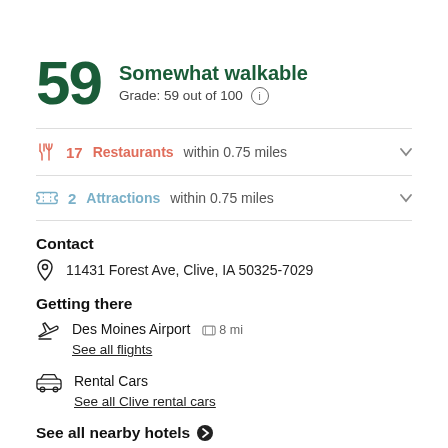59 Somewhat walkable Grade: 59 out of 100
17 Restaurants within 0.75 miles
2 Attractions within 0.75 miles
Contact
11431 Forest Ave, Clive, IA 50325-7029
Getting there
Des Moines Airport 8 mi
See all flights
Rental Cars
See all Clive rental cars
See all nearby hotels